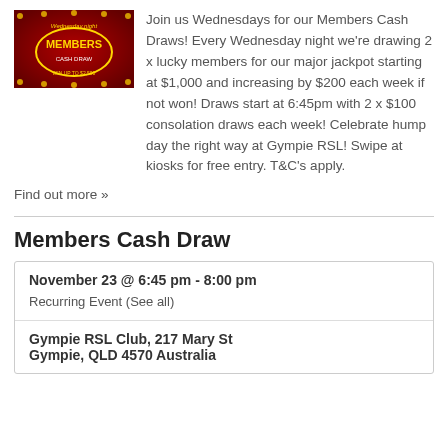[Figure (photo): Wednesday night Members Cash Draw promotional banner image on red background with gold oval border]
Join us Wednesdays for our Members Cash Draws! Every Wednesday night we're drawing 2 x lucky members for our major jackpot starting at $1,000 and increasing by $200 each week if not won! Draws start at 6:45pm with 2 x $100 consolation draws each week! Celebrate hump day the right way at Gympie RSL! Swipe at kiosks for free entry. T&C's apply.
Find out more »
Members Cash Draw
| November 23 @ 6:45 pm - 8:00 pm | Recurring Event (See all) |
| Gympie RSL Club, 217 Mary St
Gympie, QLD 4570 Australia |